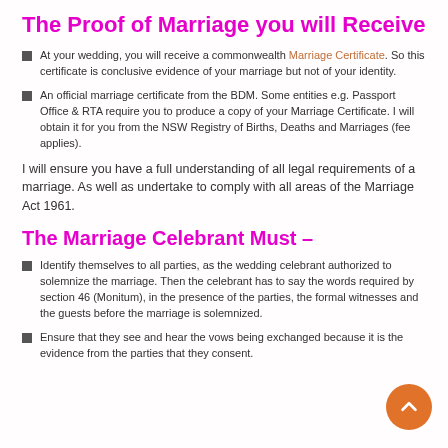The Proof of Marriage you will Receive
At your wedding, you will receive a commonwealth Marriage Certificate. So this certificate is conclusive evidence of your marriage but not of your identity.
An official marriage certificate from the BDM. Some entities e.g. Passport Office & RTA require you to produce a copy of your Marriage Certificate. I will obtain it for you from the NSW Registry of Births, Deaths and Marriages (fee applies).
I will ensure you have a full understanding of all legal requirements of a marriage. As well as undertake to comply with all areas of the Marriage Act 1961.
The Marriage Celebrant Must –
Identify themselves to all parties, as the wedding celebrant authorized to solemnize the marriage. Then the celebrant has to say the words required by section 46 (Monitum), in the presence of the parties, the formal witnesses and the guests before the marriage is solemnized.
Ensure that they see and hear the vows being exchanged because it is the evidence from the parties that they consent.